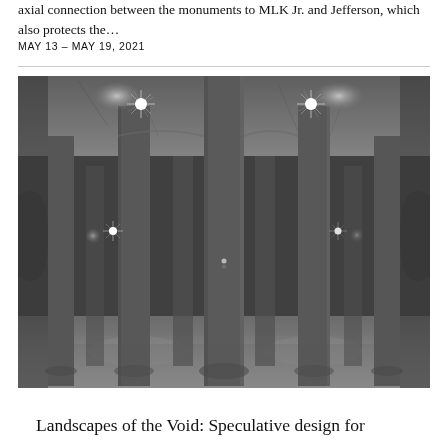axial connection between the monuments to MLK Jr. and Jefferson, which also protects the…
MAY 13 – MAY 19, 2021
[Figure (photo): Black and white photograph of a large underground concrete structure with massive cylindrical columns and dramatic star-burst lighting from overhead light fixtures, creating a symmetrical, cathedral-like space.]
Landscapes of the Void: Speculative design for